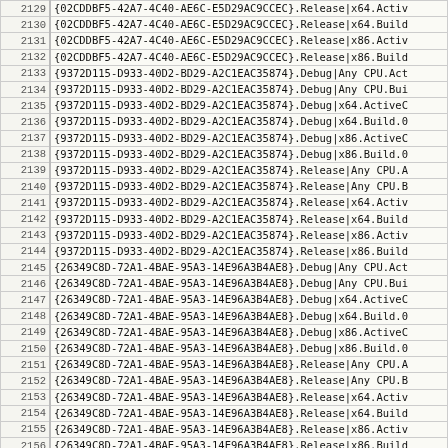| Line | Code |
| --- | --- |
| 2129 | {02CDDBF5-42A7-4C40-AE6C-E5D29AC9CCEC}.Release|x64.Activ |
| 2130 | {02CDDBF5-42A7-4C40-AE6C-E5D29AC9CCEC}.Release|x64.Build |
| 2131 | {02CDDBF5-42A7-4C40-AE6C-E5D29AC9CCEC}.Release|x86.Activ |
| 2132 | {02CDDBF5-42A7-4C40-AE6C-E5D29AC9CCEC}.Release|x86.Build |
| 2133 | {9372D115-D933-40D2-BD29-A2C1EAC35874}.Debug|Any CPU.Act |
| 2134 | {9372D115-D933-40D2-BD29-A2C1EAC35874}.Debug|Any CPU.Bui |
| 2135 | {9372D115-D933-40D2-BD29-A2C1EAC35874}.Debug|x64.ActiveC |
| 2136 | {9372D115-D933-40D2-BD29-A2C1EAC35874}.Debug|x64.Build.0 |
| 2137 | {9372D115-D933-40D2-BD29-A2C1EAC35874}.Debug|x86.ActiveC |
| 2138 | {9372D115-D933-40D2-BD29-A2C1EAC35874}.Debug|x86.Build.0 |
| 2139 | {9372D115-D933-40D2-BD29-A2C1EAC35874}.Release|Any CPU.A |
| 2140 | {9372D115-D933-40D2-BD29-A2C1EAC35874}.Release|Any CPU.B |
| 2141 | {9372D115-D933-40D2-BD29-A2C1EAC35874}.Release|x64.Activ |
| 2142 | {9372D115-D933-40D2-BD29-A2C1EAC35874}.Release|x64.Build |
| 2143 | {9372D115-D933-40D2-BD29-A2C1EAC35874}.Release|x86.Activ |
| 2144 | {9372D115-D933-40D2-BD29-A2C1EAC35874}.Release|x86.Build |
| 2145 | {26349C8D-72A1-4BAE-95A3-14E96A3B4AE8}.Debug|Any CPU.Act |
| 2146 | {26349C8D-72A1-4BAE-95A3-14E96A3B4AE8}.Debug|Any CPU.Bui |
| 2147 | {26349C8D-72A1-4BAE-95A3-14E96A3B4AE8}.Debug|x64.ActiveC |
| 2148 | {26349C8D-72A1-4BAE-95A3-14E96A3B4AE8}.Debug|x64.Build.0 |
| 2149 | {26349C8D-72A1-4BAE-95A3-14E96A3B4AE8}.Debug|x86.ActiveC |
| 2150 | {26349C8D-72A1-4BAE-95A3-14E96A3B4AE8}.Debug|x86.Build.0 |
| 2151 | {26349C8D-72A1-4BAE-95A3-14E96A3B4AE8}.Release|Any CPU.A |
| 2152 | {26349C8D-72A1-4BAE-95A3-14E96A3B4AE8}.Release|Any CPU.B |
| 2153 | {26349C8D-72A1-4BAE-95A3-14E96A3B4AE8}.Release|x64.Activ |
| 2154 | {26349C8D-72A1-4BAE-95A3-14E96A3B4AE8}.Release|x64.Build |
| 2155 | {26349C8D-72A1-4BAE-95A3-14E96A3B4AE8}.Release|x86.Activ |
| 2156 | {26349C8D-72A1-4BAE-95A3-14E96A3B4AE8}.Release|x86.Build |